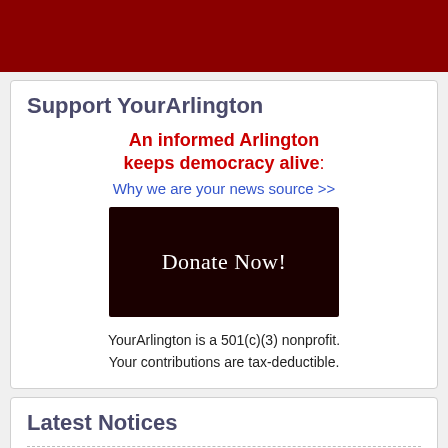[Figure (other): Dark red header banner bar]
Support YourArlington
An informed Arlington keeps democracy alive: Why we are your news source >>
[Figure (other): Dark maroon Donate Now! button]
YourArlington is a 501(c)(3) nonprofit. Your contributions are tax-deductible.
Latest Notices
Free Bluebikes Adventure